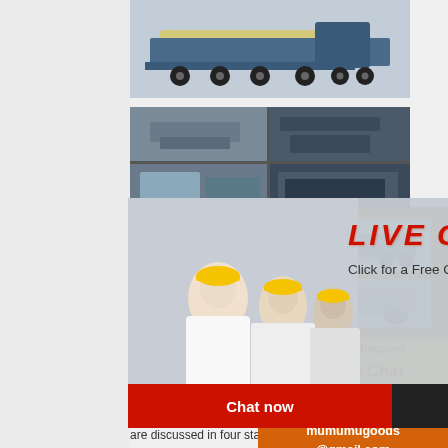[Figure (photo): Heavy machinery truck on flatbed transport, side view]
[Figure (photo): Grid of 6 industrial mining machinery photos showing conveyor belts, crushers and processing plants]
[Figure (infographic): Live Chat overlay with workers in yellow hard hats. Title: LIVE CHAT. Subtitle: Click for a Free Consultation. Buttons: Chat now (red), Chat later (black). Close X button top right.]
[Figure (photo): Right sidebar: orange background with machinery images, Enjoy 3% discount, Click to Chat, Enquiry, mumumugoods@gmail.com]
growth of the Australian iron ore industry the place of beneficiation in that growth. changes in the beneficiation processes utilised since the start of the industry in are discussed in four stages: first genera plants - heavy media processes second generation plants - jigs and spiral proce third generation plants - washing and desliming ...